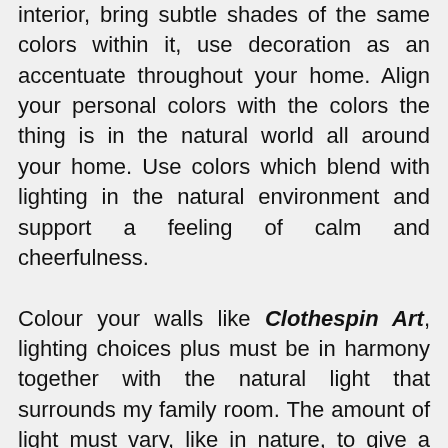interior, bring subtle shades of the same colors within it, use decoration as an accentuate throughout your home. Align your personal colors with the colors the thing is in the natural world all around your home. Use colors which blend with lighting in the natural environment and support a feeling of calm and cheerfulness.

Colour your walls like Clothespin Art, lighting choices plus must be in harmony together with the natural light that surrounds my family room. The amount of light must vary, like in nature, to give a healthy feel to the room and evoke a tone regarding harmony and peace. Several designs in Decoration for your home that will create the symphony of your residence, like sound, furniture, and furniture settings. But independent of the symphony movement, that sense of balance is the key. And just like